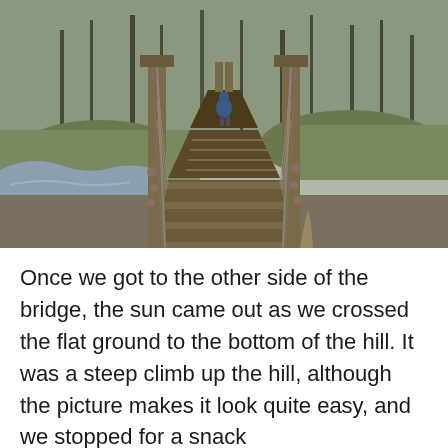[Figure (photo): A wooden suspension bridge viewed from one end, with cable-wire handrails and wooden plank decking stretching into the distance. A person in a blue jacket is walking away across the bridge. Bare trees and mossy rocks line both sides, with a rocky stream visible on the left. Overcast winter scene in a forest or moorland setting.]
Once we got to the other side of the bridge, the sun came out as we crossed the flat ground to the bottom of the hill. It was a steep climb up the hill, although the picture makes it look quite easy, and we stopped for a snack